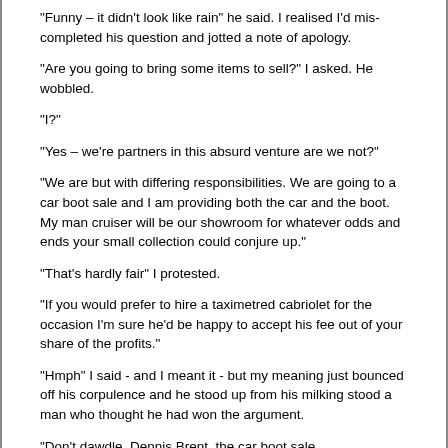“Funny – it didn’t look like rain” he said. I realised I’d mis-completed his question and jotted a note of apology.
“Are you going to bring some items to sell?” I asked. He wobbled.
“I?”
“Yes – we’re partners in this absurd venture are we not?”
“We are but with differing responsibilities. We are going to a car boot sale and I am providing both the car and the boot. My man cruiser will be our showroom for whatever odds and ends your small collection could conjure up.”
“That’s hardly fair” I protested.
“If you would prefer to hire a taximetred cabriolet for the occasion I’m sure he’d be happy to accept his fee out of your share of the profits.”
“Hmph” I said - and I meant it - but my meaning just bounced off his corpulence and he stood up from his milking stood a man who thought he had won the argument.
“Don’t dawdle, Dennis Brent, the car boot sale